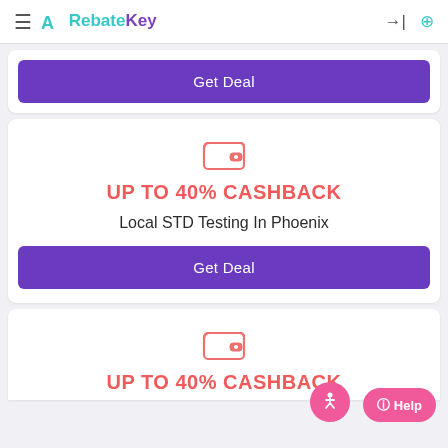RebateKey
[Figure (screenshot): Get Deal button (purple) at top of first card]
[Figure (infographic): Wallet icon with cashback offer card: UP TO 40% CASHBACK, Local STD Testing In Phoenix, Get Deal button]
[Figure (infographic): Second cashback card (partial): wallet icon and UP TO 40% CASHBACK text, with accessibility and Help overlay buttons]